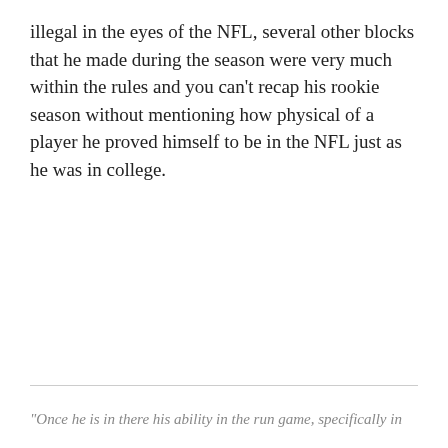illegal in the eyes of the NFL, several other blocks that he made during the season were very much within the rules and you can't recap his rookie season without mentioning how physical of a player he proved himself to be in the NFL just as he was in college.
"Once he is in there his ability in the run game, specifically in